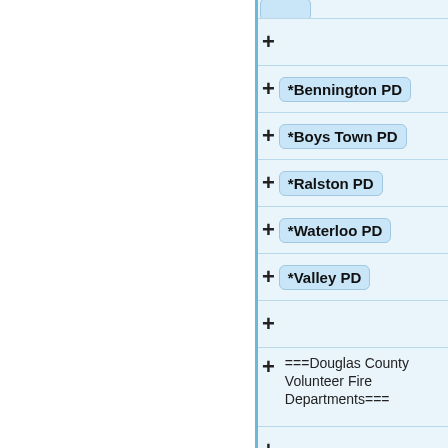(partial row top)
+
+*Bennington PD
+*Boys Town PD
+*Ralston PD
+*Waterloo PD
+*Valley PD
+
+===Douglas County Volunteer Fire Departments===
+
+*Bennington VFD
+*Boys Town VFD